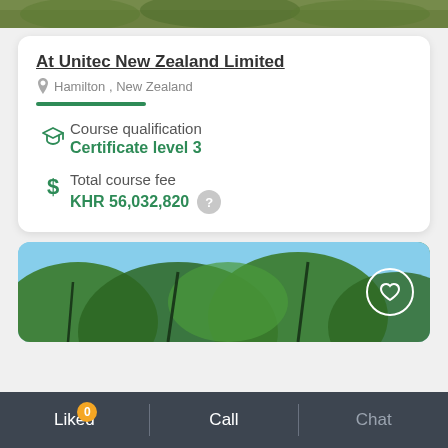[Figure (photo): Top partial view of green foliage/nature scene]
At Unitec New Zealand Limited
Hamilton , New Zealand
Course qualification
Certificate level 3
Total course fee
KHR 56,032,820
[Figure (photo): Bottom view looking up through green tree canopy against blue sky]
Liked 0  Call  Chat